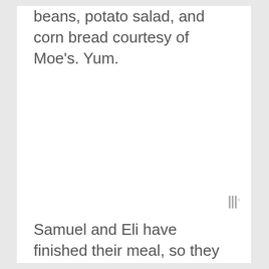beans, potato salad, and corn bread courtesy of Moe's. Yum.
Samuel and Eli have finished their meal, so they head into the living room to play. Eric and I sit down at